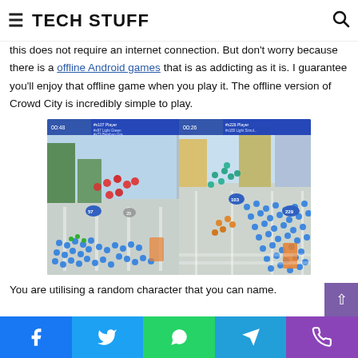TECH STUFF
this does not require an internet connection. But don't worry because there is a offline Android games that is as addicting as it is. I guarantee you'll enjoy that offline game when you play it. The offline version of Crowd City is incredibly simple to play.
[Figure (screenshot): Screenshot of Crowd City mobile game showing crowds of colored stick figures on a city street, two panels side by side with game UI overlays showing timers and player counts]
You are utilising a random character that you can name.